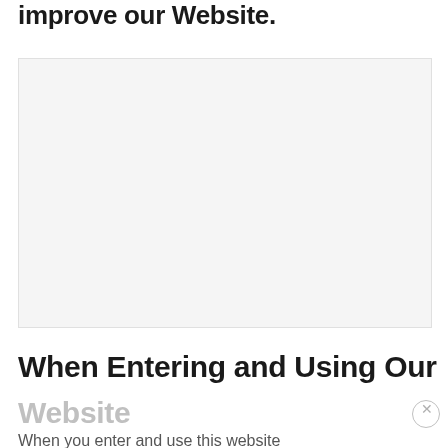improve our Website.
[Figure (other): Large light gray rectangular placeholder image area]
When Entering and Using Our
Website
When you enter and use this website